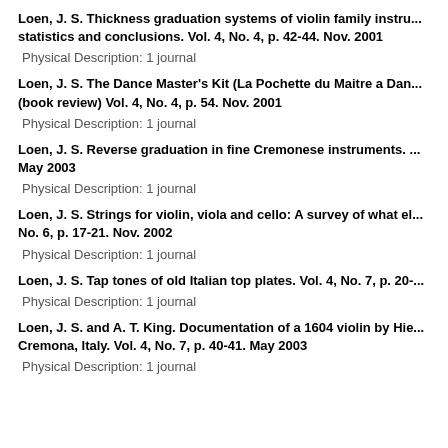Loen, J. S. Thickness graduation systems of violin family instru... statistics and conclusions. Vol. 4, No. 4, p. 42-44. Nov. 2001
Physical Description: 1 journal
Loen, J. S. The Dance Master's Kit (La Pochette du Maitre a Dan... (book review) Vol. 4, No. 4, p. 54. Nov. 2001
Physical Description: 1 journal
Loen, J. S. Reverse graduation in fine Cremonese instruments. ... May 2003
Physical Description: 1 journal
Loen, J. S. Strings for violin, viola and cello: A survey of what el... No. 6, p. 17-21. Nov. 2002
Physical Description: 1 journal
Loen, J. S. Tap tones of old Italian top plates. Vol. 4, No. 7, p. 20-...
Physical Description: 1 journal
Loen, J. S. and A. T. King. Documentation of a 1604 violin by Hie... Cremona, Italy. Vol. 4, No. 7, p. 40-41. May 2003
Physical Description: 1 journal